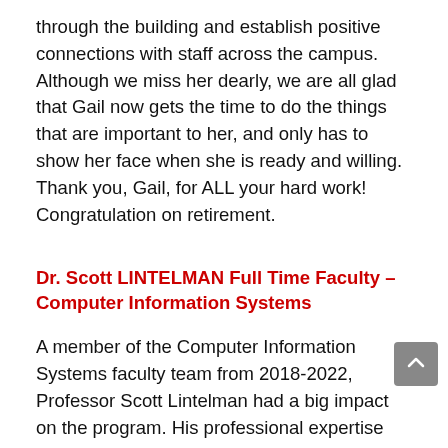through the building and establish positive connections with staff across the campus. Although we miss her dearly, we are all glad that Gail now gets the time to do the things that are important to her, and only has to show her face when she is ready and willing. Thank you, Gail, for ALL your hard work! Congratulation on retirement.
Dr. Scott LINTELMAN Full Time Faculty – Computer Information Systems
A member of the Computer Information Systems faculty team from 2018-2022, Professor Scott Lintelman had a big impact on the program. His professional expertise and educational background served him well as an educator. Before coming to Olympic College, he was a Boeing engineer for many years, offering him applied experience